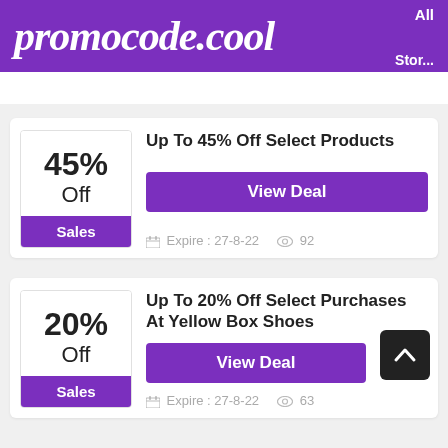promocode.cool
Up To 45% Off Select Products
View Deal
Sales
Expire: 27-8-22   92
Up To 20% Off Select Purchases At Yellow Box Shoes
View Deal
Sales
Expire: 27-8-22   63